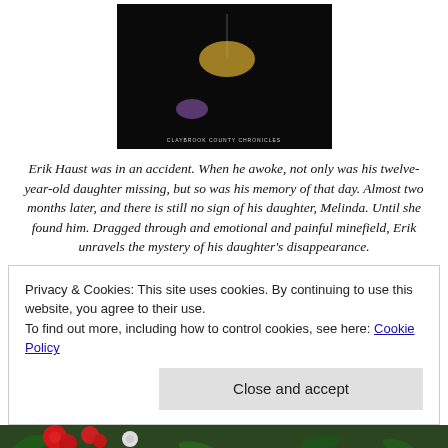[Figure (illustration): Book cover for 'Claybrook County Chronicles' — dark background with colorful paint splatters and droplets in gold, purple, blue, and white tones. Text at bottom reads 'CLAYBROOK COUNTY CHRONICLES'.]
Erik Haust was in an accident. When he awoke, not only was his twelve-year-old daughter missing, but so was his memory of that day. Almost two months later, and there is still no sign of his daughter, Melinda. Until she found him. Dragged through and emotional and painful minefield, Erik unravels the mystery of his daughter's disappearance.
Privacy & Cookies: This site uses cookies. By continuing to use this website, you agree to their use.
To find out more, including how to control cookies, see here: Cookie Policy
[Figure (photo): Bottom portion of a photograph showing red roses and other flowers on a green leafy background.]